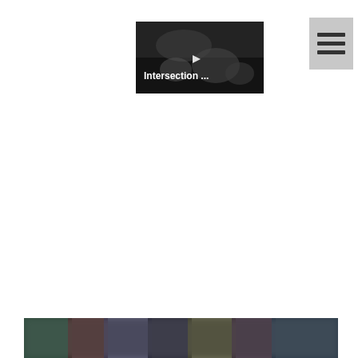[Figure (screenshot): Video thumbnail with dark background showing hands holding a device, with white text 'Intersection ...' and a play button icon]
[Figure (screenshot): Hamburger menu button - three horizontal dark lines on a light gray square background]
[Figure (screenshot): Blurred content strip at the bottom of the page, appears to show colorful blurred images or thumbnails]